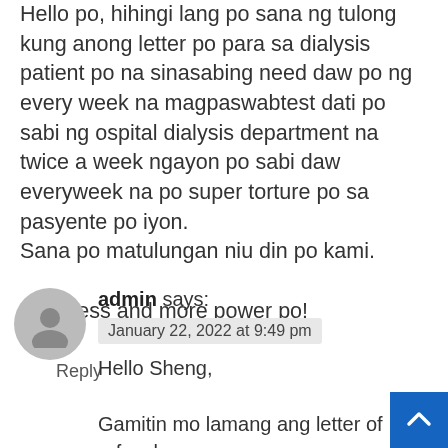Hello po, hihingi lang po sana ng tulong kung anong letter po para sa dialysis patient po na sinasabing need daw po ng every week na magpaswabtest dati po sabi ng ospital dialysis department na twice a week ngayon po sabi daw everyweek na po super torture po sa pasyente po iyon.
Sana po matulungan niu din po kami.

Godbless and more power po!

    Reply
admin says:
January 22, 2022 at 9:49 pm

Hello Sheng,

Gamitin mo lamang ang letter of refusal,